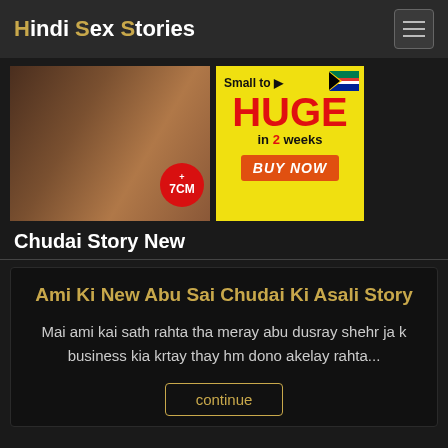Hindi Sex Stories
[Figure (photo): Website screenshot showing adult content site header, advertisement banner and story preview]
Chudai Story New
Ami Ki New Abu Sai Chudai Ki Asali Story
Mai ami kai sath rahta tha meray abu dusray shehr ja k business kia krtay thay hm dono akelay rahta...
continue